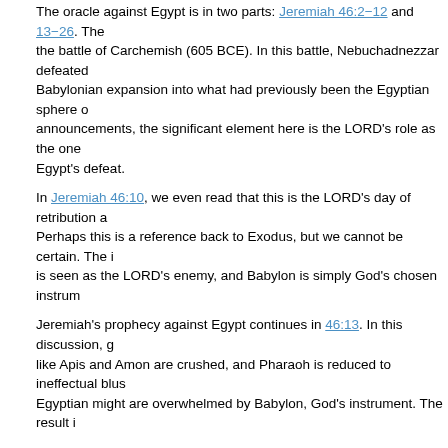The oracle against Egypt is in two parts: Jeremiah 46:2–12 and 13–26. The the battle of Carchemish (605 BCE). In this battle, Nebuchadnezzar defeated Babylonian expansion into what had previously been the Egyptian sphere o announcements, the significant element here is the LORD's role as the one Egypt's defeat.
In Jeremiah 46:10, we even read that this is the LORD's day of retribution a Perhaps this is a reference back to Exodus, but we cannot be certain. The i is seen as the LORD's enemy, and Babylon is simply God's chosen instrum
Jeremiah's prophecy against Egypt continues in 46:13. In this discussion, g like Apis and Amon are crushed, and Pharaoh is reduced to ineffectual blus Egyptian might are overwhelmed by Babylon, God's instrument. The result i
In the middle of the oracle detailing the clash of two world powers, God offe 46:27–28. Unlike God's dealings with the nations, God's dealings with Israe designed to correct and reform her, preparing her for restoration. "I will mak not make an end of you" (Jeremiah 46:28). God will ultimately end Israel's c
Oracles Against the Philistines and Moab
The oracle against the Philistines addresses a nation that had once been Is now vastly diminished. They, too, will fall to the Babylonians. Again, howeve simply the outworking of geopolitical processes.
In contrast to the relatively short oracle against the Philistines, the oracle ag oracle against Egypt. The oracle begins with an announcement of doom aga 48:1–5. The underlying issue here seems to be Moab's insolence and com